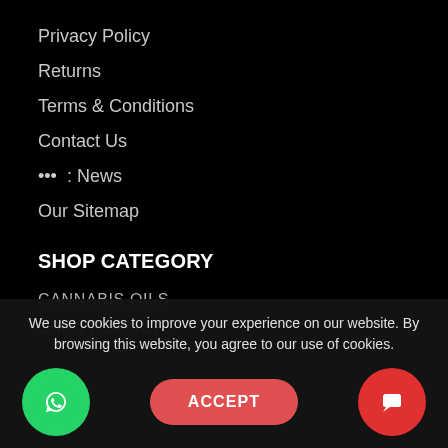Privacy Policy
Returns
Terms & Conditions
Contact Us
••• : News
Our Sitemap
SHOP CATEGORY
CANNABIS OILS
CBD PRODUCTS
We use cookies to improve your experience on our website. By browsing this website, you agree to our use of cookies.
ACCEPT